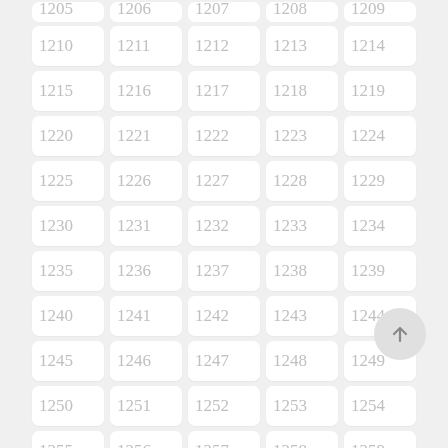[Figure (other): Grid of numbered cells from 1205 to 1259+ arranged in 5 columns, each cell showing a number in light gray on white rounded rectangle background. A scroll-to-top button is visible at bottom right.]